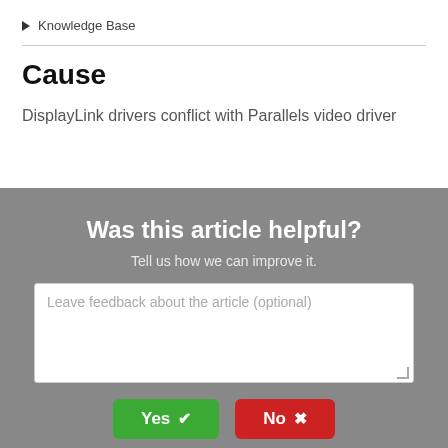Knowledge Base
Cause
DisplayLink drivers conflict with Parallels video driver
Was this article helpful?
Tell us how we can improve it.
Leave feedback about the article (optional)